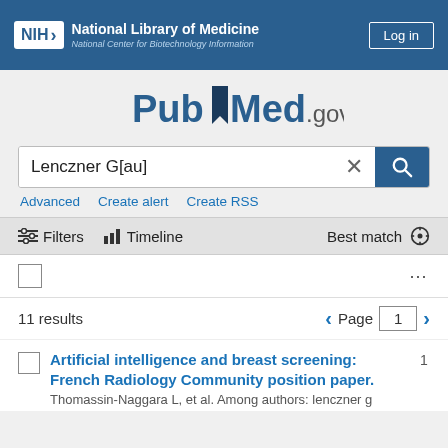NIH National Library of Medicine National Center for Biotechnology Information | Log in
[Figure (logo): PubMed.gov logo with bookmark icon]
Lenczner G[au]
Advanced | Create alert | Create RSS
Filters  Timeline  Best match
11 results  Page 1
Artificial intelligence and breast screening: French Radiology Community position paper.
Thomassin-Naggara L, et al. Among authors: lenczner g